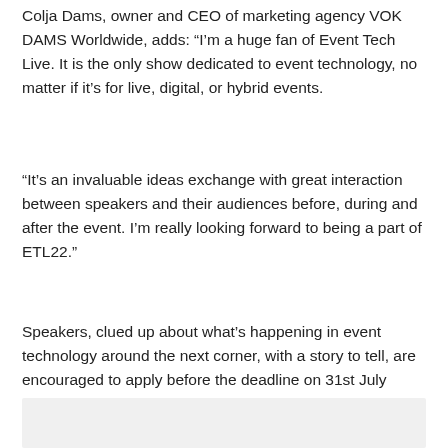Colja Dams, owner and CEO of marketing agency VOK DAMS Worldwide, adds: “I’m a huge fan of Event Tech Live. It is the only show dedicated to event technology, no matter if it’s for live, digital, or hybrid events.
“It’s an invaluable ideas exchange with great interaction between speakers and their audiences before, during and after the event. I’m really looking forward to being a part of ETL22.”
Speakers, clued up about what’s happening in event technology around the next corner, with a story to tell, are encouraged to apply before the deadline on 31st July 2022. Apply here: https://event-tech-live-london-2022.cfp.lineup.ninja/